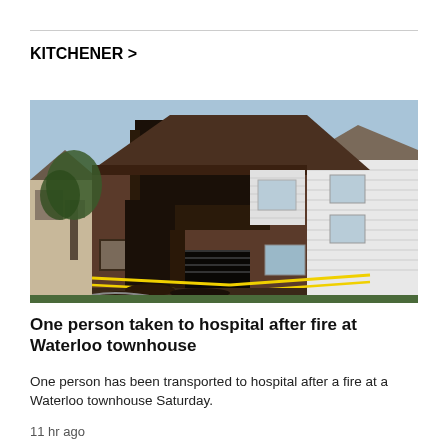KITCHENER >
[Figure (photo): Fire-damaged two-storey townhouse with scorched facade, broken windows, yellow caution tape, and debris on ground]
One person taken to hospital after fire at Waterloo townhouse
One person has been transported to hospital after a fire at a Waterloo townhouse Saturday.
11 hr ago